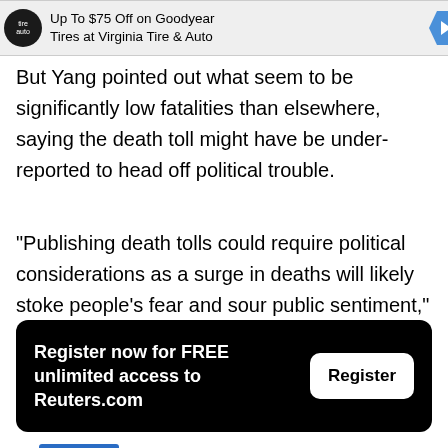[Figure (other): Advertisement banner: Up To $75 Off on Goodyear Tires at Virginia Tire & Auto]
But Yang pointed out what seem to be significantly low fatalities than elsewhere, saying the death toll might have be under-reported to head off political trouble.
"Publishing death tolls could require political considerations as a surge in deaths will likely stoke people's fear and sour public sentiment," he said.
[Figure (other): Register now for FREE unlimited access to Reuters.com — black box with white Register button]
Re[Feedback]Hyonhee Shin, Minwoo Park and Sunghyuk An[...] Robert Birsel